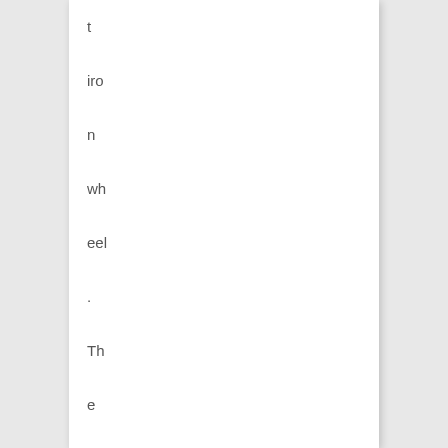t iro n wh eel . Th e bot to m tw o ha ve a cas t iro n wh